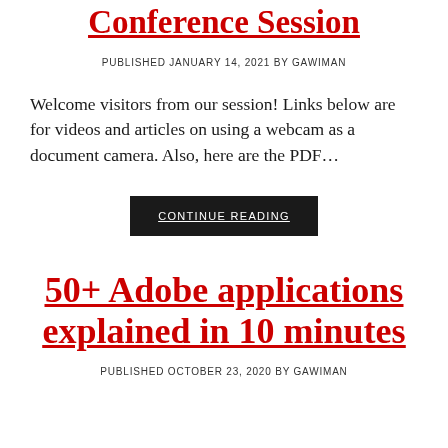Conference Session
PUBLISHED JANUARY 14, 2021 BY GAWIMAN
Welcome visitors from our session! Links below are for videos and articles on using a webcam as a document camera. Also, here are the PDF…
CONTINUE READING
50+ Adobe applications explained in 10 minutes
PUBLISHED OCTOBER 23, 2020 BY GAWIMAN